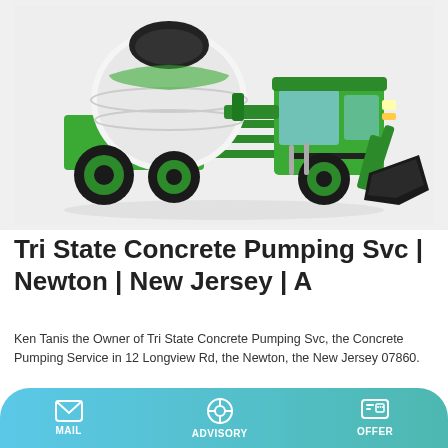[Figure (photo): A green self-loading concrete mixer truck with a large rotating drum and front bucket loader on a white/light grey background]
Tri State Concrete Pumping Svc | Newton | New Jersey | A
Ken Tanis the Owner of Tri State Concrete Pumping Svc, the Concrete Pumping Service in 12 Longview Rd, the Newton, the New Jersey 07860.
MAIL  ADVISORY  OFFER